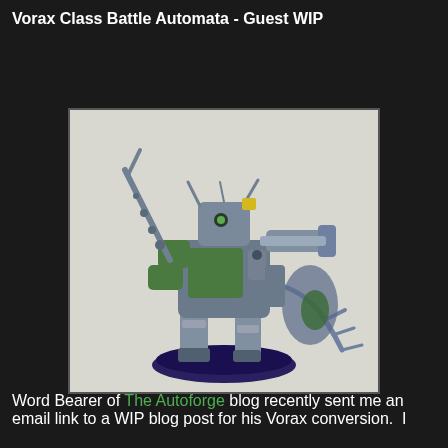Vorax Class Battle Automata - Guest WIP
[Figure (photo): Work-in-progress miniature figure of a Vorax Class Battle Automata conversion, showing a grey and green-painted robot/automata model on a dark round base. The model has multiple weapons, claws, and mechanical arms, photographed against a white background.]
Word Bearer of The Autoforge blog recently sent me an email link to a WIP blog post for his Vorax conversion.  I